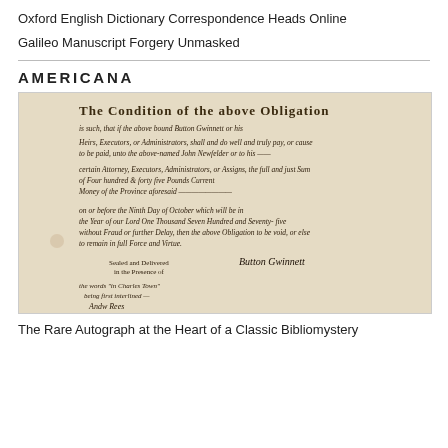Oxford English Dictionary Correspondence Heads Online
Galileo Manuscript Forgery Unmasked
AMERICANA
[Figure (photo): Photograph of a handwritten historical manuscript/bond document signed by Button Gwinnett, referencing payment of four hundred and forty five pounds currency to John Newfelder, signed and sealed in the presence of witnesses, dated around 1777.]
The Rare Autograph at the Heart of a Classic Bibliomystery